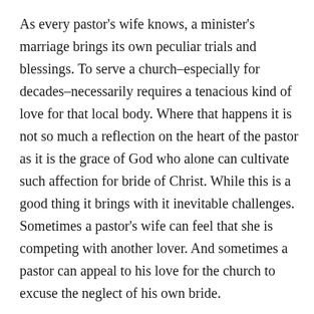As every pastor's wife knows, a minister's marriage brings its own peculiar trials and blessings. To serve a church–especially for decades–necessarily requires a tenacious kind of love for that local body. Where that happens it is not so much a reflection on the heart of the pastor as it is the grace of God who alone can cultivate such affection for bride of Christ. While this is a good thing it brings with it inevitable challenges. Sometimes a pastor's wife can feel that she is competing with another lover. And sometimes a pastor can appeal to his love for the church to excuse the neglect of his own bride.
It takes a special woman to help her husband navigate those currents without doing injustice to either loves. To borrow from John Plowman, if there is only one